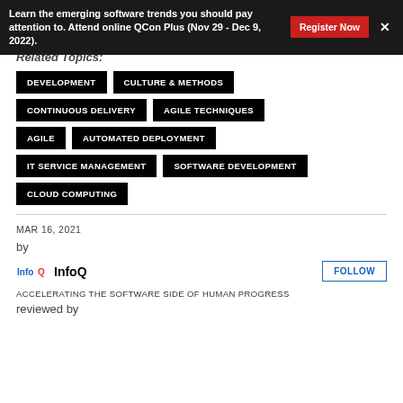Learn the emerging software trends you should pay attention to. Attend online QCon Plus (Nov 29 - Dec 9, 2022).
Related Topics:
DEVELOPMENT
CULTURE & METHODS
CONTINUOUS DELIVERY
AGILE TECHNIQUES
AGILE
AUTOMATED DEPLOYMENT
IT SERVICE MANAGEMENT
SOFTWARE DEVELOPMENT
CLOUD COMPUTING
MAR 16, 2021
by
InfoQ
FOLLOW
ACCELERATING THE SOFTWARE SIDE OF HUMAN PROGRESS
reviewed by